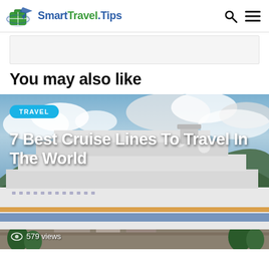SmartTravel.Tips
[Figure (other): Advertisement banner placeholder, light gray background]
You may also like
[Figure (photo): Large cruise ship docked at a tropical port with mountains and cloudy sky in background. Overlaid text: TRAVEL tag, title '7 Best Cruise Lines To Travel In The World', and '579 views' counter at bottom left.]